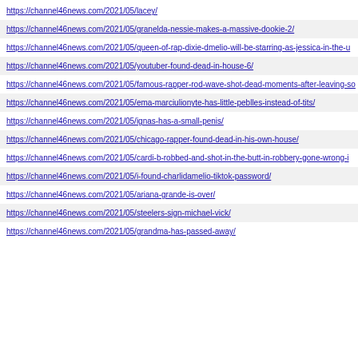https://channel46news.com/2021/05/lacey/
https://channel46news.com/2021/05/granelda-nessie-makes-a-massive-dookie-2/
https://channel46news.com/2021/05/queen-of-rap-dixie-dmelio-will-be-starring-as-jessica-in-the-u
https://channel46news.com/2021/05/youtuber-found-dead-in-house-6/
https://channel46news.com/2021/05/famous-rapper-rod-wave-shot-dead-moments-after-leaving-so
https://channel46news.com/2021/05/ema-marciulionyte-has-little-peblles-instead-of-tits/
https://channel46news.com/2021/05/ignas-has-a-small-penis/
https://channel46news.com/2021/05/chicago-rapper-found-dead-in-his-own-house/
https://channel46news.com/2021/05/cardi-b-robbed-and-shot-in-the-butt-in-robbery-gone-wrong-i
https://channel46news.com/2021/05/i-found-charlidamelio-tiktok-password/
https://channel46news.com/2021/05/ariana-grande-is-over/
https://channel46news.com/2021/05/steelers-sign-michael-vick/
https://channel46news.com/2021/05/grandma-has-passed-away/